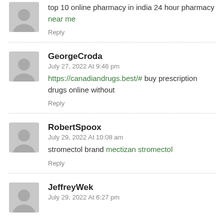top 10 online pharmacy in india 24 hour pharmacy near me
Reply
GeorgeCroda
July 27, 2022 At 9:46 pm
https://canadiandrugs.best/# buy prescription drugs online without
Reply
RobertSpoox
July 29, 2022 At 10:08 am
stromectol brand mectizan stromectol
Reply
JeffreyWek
July 29, 2022 At 6:27 pm